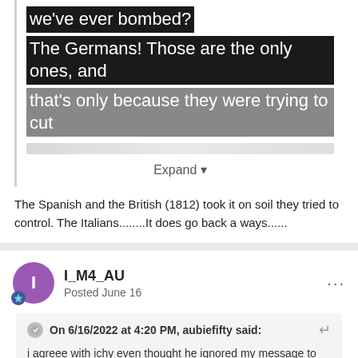we've ever bombed?
The Germans! Those are the only ones, and that's only because they were trying to cut
Expand
The Spanish and the British (1812) took it on soil they tried to control. The Italians........It does go back a ways......
I_M4_AU
Posted June 16
On 6/16/2022 at 4:20 PM, aubiefifty said:
i agreee with ichy even thought he ignored my message to him. what about nam and then iraq? what about the others we helped destroy? what about the indian wars? you here